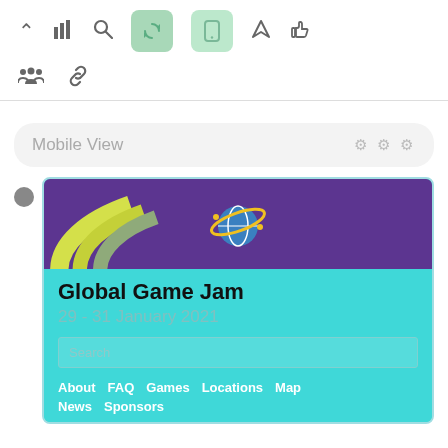[Figure (screenshot): Top toolbar with icons: up arrow, bar chart, search, two green highlighted buttons (refresh/sync and mobile), send/rocket, thumbs up]
[Figure (screenshot): Second toolbar row with people/group icon and link/chain icon]
Mobile View
[Figure (screenshot): Mobile preview of Global Game Jam website showing banner with globe logo, title 'Global Game Jam', date '29 - 31 January 2021', search bar, and navigation links: About, FAQ, Games, Locations, Map, News, Sponsors]